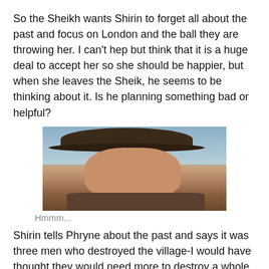So the Sheikh wants Shirin to forget all about the past and focus on London and the ball they are throwing her. I can't hep but think that it is a huge deal to accept her so she should be happier, but when she leaves the Sheik, he seems to be thinking about it. Is he planning something bad or helpful?
[Figure (photo): Close-up photo of a man wearing a wide-brimmed hat, squinting, with a cigarette in his mouth, against an outdoor background with hills.]
Hmmm...
Shirin tells Phryne about the past and says it was three men who destroyed the village-I would have thought they would need more to destroy a whole village.